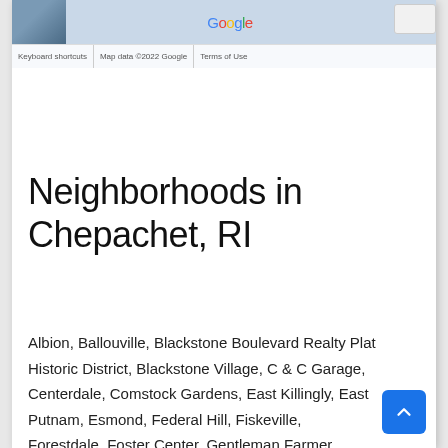[Figure (screenshot): Google Maps embed showing bottom strip with Google logo, map data attribution, keyboard shortcuts, and terms of use footer. A small photo thumbnail is in the top-left corner.]
Neighborhoods in Chepachet, RI
Albion, Ballouville, Blackstone Boulevard Realty Plat Historic District, Blackstone Village, C & C Garage, Centerdale, Comstock Gardens, East Killingly, East Putnam, Esmond, Federal Hill, Fiskeville, Forestdale, Foster Center, Gentleman Farmer Restaurant